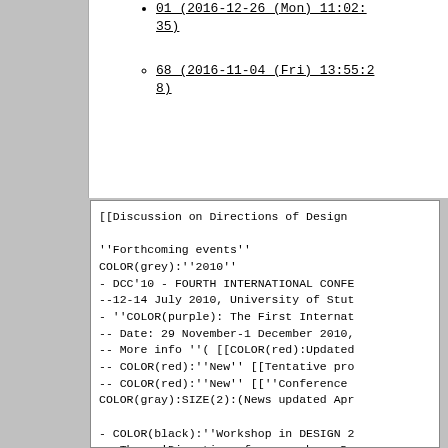01 (2016-12-26 (Mon) 11:02:35)
68 (2016-11-04 (Fri) 13:55:28)
[[Discussion on Directions of Design

''Forthcoming events''
COLOR(grey):''2010''
- DCC'10 - FOURTH INTERNATIONAL CONFE
--12-14 July 2010, University of Stut
- ''COLOR(purple): The First Internat
-- Date: 29 November-1 December 2010,
-- More info ''( [[COLOR(red):Updated
-- COLOR(red):''New'' [[Tentative pro
-- COLOR(red):''New'' [[''Conference
COLOR(gray):SIZE(2):(News updated Apr

- COLOR(black):''Workshop in DESIGN 2
-- Theme:'Direction of research on De

COLOR(grey):''2009''
-''CC09''